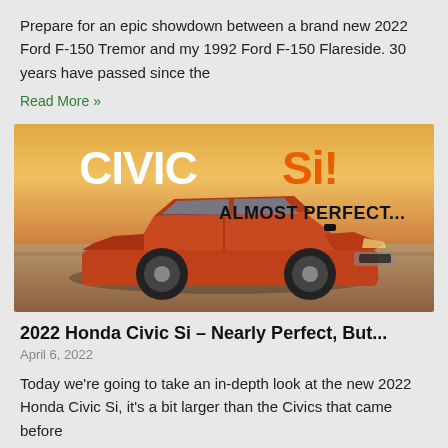Prepare for an epic showdown between a brand new 2022 Ford F-150 Tremor and my 1992 Ford F-150 Flareside. 30 years have passed since the
Read More »
[Figure (photo): Promotional image of a 2022 Honda Civic Si in orange/red color with text overlay 'CIVIC Si!' in white and orange, and 'ALMOST PERFECT...' in bold dark text on a warm sunset background.]
2022 Honda Civic Si – Nearly Perfect, But...
April 6, 2022
Today we're going to take an in-depth look at the new 2022 Honda Civic Si, it's a bit larger than the Civics that came before